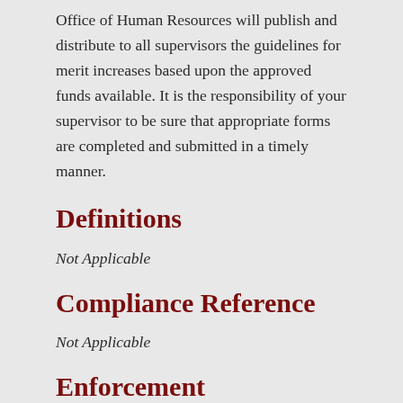Office of Human Resources will publish and distribute to all supervisors the guidelines for merit increases based upon the approved funds available. It is the responsibility of your supervisor to be sure that appropriate forms are completed and submitted in a timely manner.
Definitions
Not Applicable
Compliance Reference
Not Applicable
Enforcement
Not Applicable